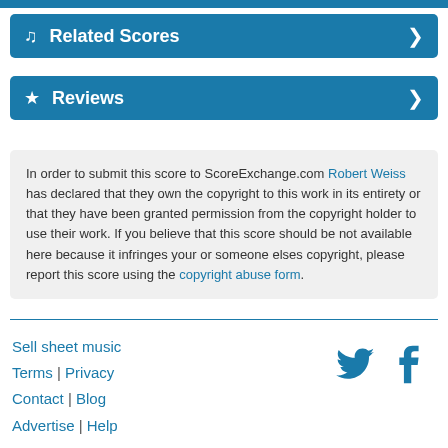Related Scores
Reviews
In order to submit this score to ScoreExchange.com Robert Weiss has declared that they own the copyright to this work in its entirety or that they have been granted permission from the copyright holder to use their work. If you believe that this score should be not available here because it infringes your or someone elses copyright, please report this score using the copyright abuse form.
Sell sheet music | Terms | Privacy | Contact | Blog | Advertise | Help